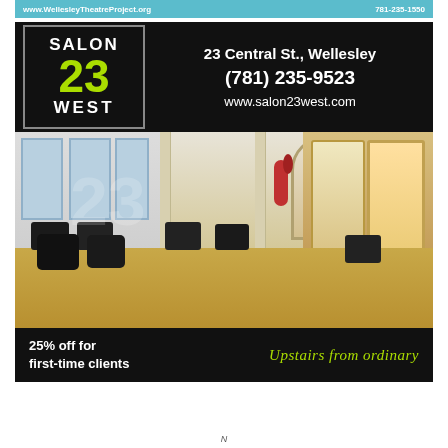www.WellesleyTheatreProject.org    781-235-1550
[Figure (advertisement): Advertisement for Salon 23 West. Black header with logo box showing 'SALON 23 WEST' (23 in green) and contact info: 23 Central St., Wellesley, (781) 235-9523, www.salon23west.com. Center shows interior photo of salon with styling chairs. Black footer with '25% off for first-time clients' and green italic tagline 'Upstairs from ordinary'.]
N